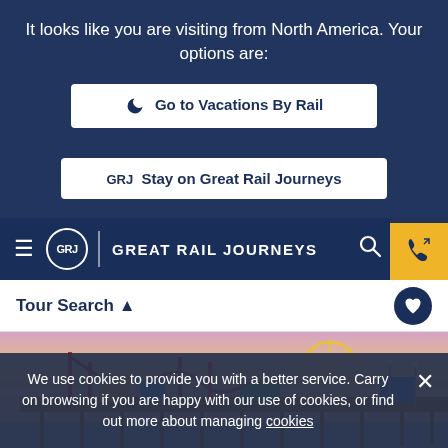It looks like you are visiting from North America. Your options are:
Go to Vacations By Rail
GRJ Stay on Great Rail Journeys
GREAT RAIL JOURNEYS
Tour Search
[Figure (photo): Photo of a seaside amusement pier with a Ferris wheel, colorful rides, and a wooden walkway over the ocean, with waves on the beach in the foreground under a pink/purple sky]
We use cookies to provide you with a better service. Carry on browsing if you are happy with our use of cookies, or find out more about managing cookies